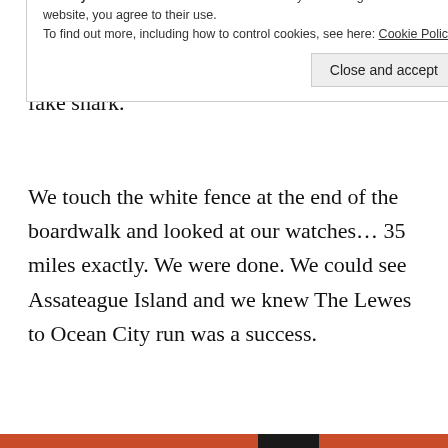little faster. We ran past the skeetball games, past the ice cream shops and past the big fake shark.
We touch the white fence at the end of the boardwalk and looked at our watches… 35 miles exactly. We were done. We could see Assateague Island and we knew The Lewes to Ocean City run was a success.
Privacy & Cookies: This site uses cookies. By continuing to use this website, you agree to their use.
To find out more, including how to control cookies, see here: Cookie Policy
Close and accept